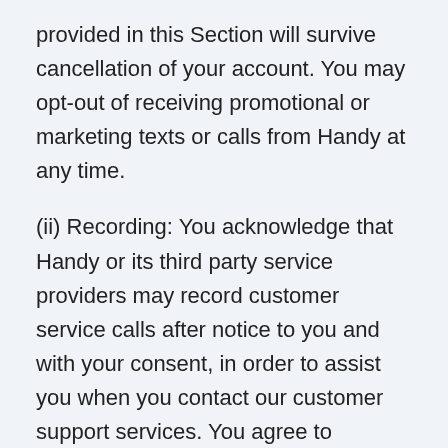provided in this Section will survive cancellation of your account. You may opt-out of receiving promotional or marketing texts or calls from Handy at any time.
(ii) Recording: You acknowledge that Handy or its third party service providers may record customer service calls after notice to you and with your consent, in order to assist you when you contact our customer support services. You agree to Handy's use of a service provider to mask your telephone number when you call or exchange text (SMS) messages with a Professional or Requestor using a telephone number provided by Handy. During this process, Handy and its service provider will receive in real time and store call data, including the date and time of the call or text (SMS) message, the